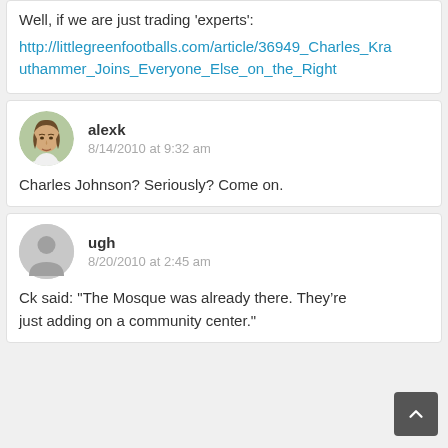Well, if we are just trading 'experts': http://littlegreenfootballs.com/article/36949_Charles_Krauthammer_Joins_Everyone_Else_on_the_Right
alexk
8/14/2010 at 9:32 am
Charles Johnson? Seriously? Come on.
ugh
8/20/2010 at 2:45 am
Ck said: "The Mosque was already there. They’re just adding on a community center."